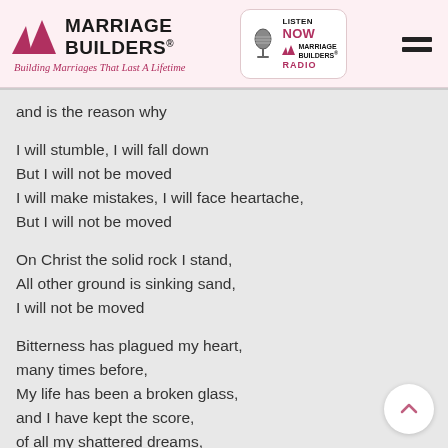Marriage Builders — Building Marriages That Last A Lifetime
and is the reason why
I will stumble, I will fall down
But I will not be moved
I will make mistakes, I will face heartache,
But I will not be moved
On Christ the solid rock I stand,
All other ground is sinking sand,
I will not be moved
Bitterness has plagued my heart,
many times before,
My life has been a broken glass,
and I have kept the score,
of all my shattered dreams,
and though it seemed,